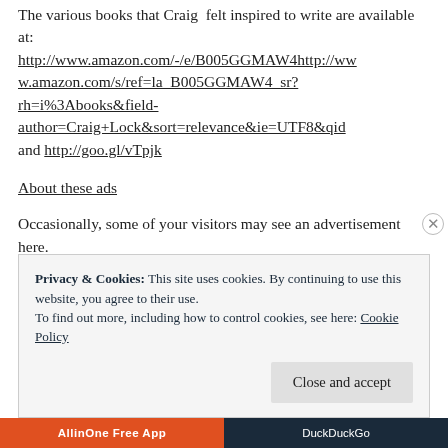The various books that Craig  felt inspired to write are available at: http://www.amazon.com/-/e/B005GGMAW4http://www.amazon.com/s/ref=la_B005GGMAW4_sr?rh=i%3Abooks&field-author=Craig+Lock&sort=relevance&ie=UTF8&qid and http://goo.gl/vTpjk
About these ads
Occasionally, some of your visitors may see an advertisement here.
Privacy & Cookies: This site uses cookies. By continuing to use this website, you agree to their use.
To find out more, including how to control cookies, see here: Cookie Policy